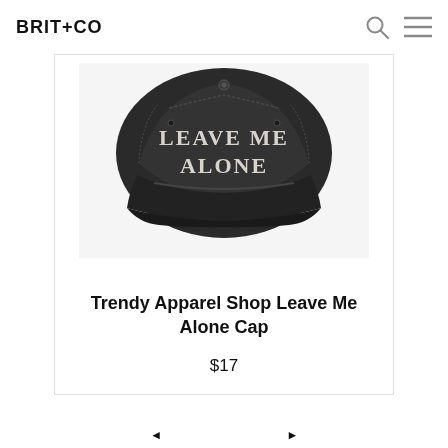BRIT+CO
[Figure (photo): A dark grey/black washed denim dad cap with embroidered white text reading LEAVE ME ALONE on the front panel.]
Trendy Apparel Shop Leave Me Alone Cap
$17